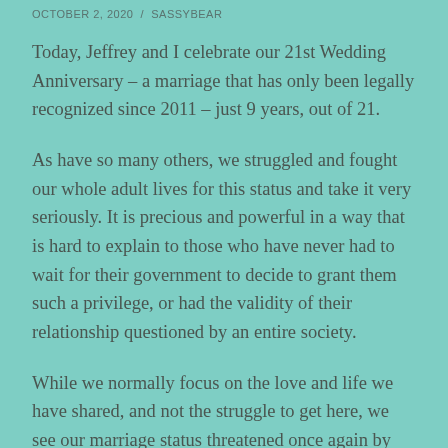OCTOBER 2, 2020  /  SASSYBEAR
Today, Jeffrey and I celebrate our 21st Wedding Anniversary – a marriage that has only been legally recognized since 2011 – just 9 years, out of 21.
As have so many others, we struggled and fought our whole adult lives for this status and take it very seriously. It is precious and powerful in a way that is hard to explain to those who have never had to wait for their government to decide to grant them such a privilege, or had the validity of their relationship questioned by an entire society.
While we normally focus on the love and life we have shared, and not the struggle to get here, we see our marriage status threatened once again by people,